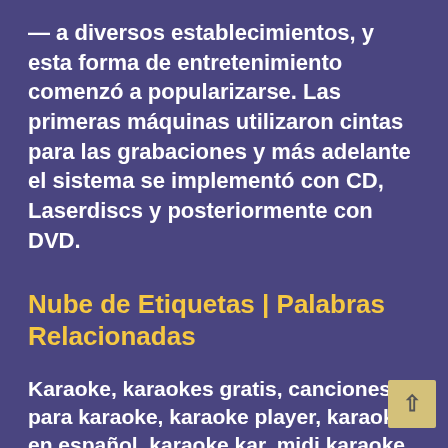— a diversos establecimientos, y esta forma de entretenimiento comenzó a popularizarse. Las primeras máquinas utilizaron cintas para las grabaciones y más adelante el sistema se implementó con CD, Laserdiscs y posteriormente con DVD.
Nube de Etiquetas | Palabras Relacionadas
Karaoke, karaokes gratis, canciones para karaoke, karaoke player, karaokes en español, karaoke kar, midi karaoke, karaoke canciones, musica karaoke, Canciones de Karaoke. Descarga Canciones de Karaoke. Canciones de Karaoke. Música y canciones de karaoke para que puedas disfrutar...